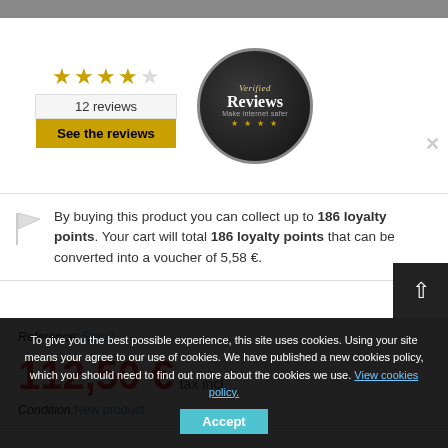[Figure (screenshot): Reviews widget showing 4 gold stars, '12 reviews', 'See the reviews' button, and circular Verified Reviews badge with 'Verified Reviews Make internet safer' text]
By buying this product you can collect up to 186 loyalty points. Your cart will total 186 loyalty points that can be converted into a voucher of 5,58 €.
Reference: Solo2
112,50 € tax incl.
Condition: New product
To give you the best possible experience, this site uses cookies. Using your site means your agree to our use of cookies. We have published a new cookies policy, which you should need to find out more about the cookies we use. View cookies policy. Accept